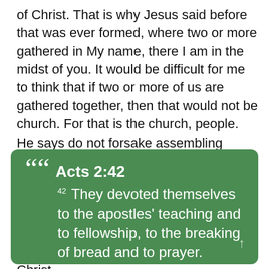of Christ. That is why Jesus said before that was ever formed, where two or more gathered in My name, there I am in the midst of you. It would be difficult for me to think that if two or more of us are gathered together, then that would not be church. For that is the church, people. He says do not forsake assembling together. It is like logs on a fire. One log on a fire might smoulder and burn out. But if you put two or three out there, they feed on each other. We need encouragement not of a church service but the encouragement of the body of Christ.
Acts 2:42 — They devoted themselves to the apostles' teaching and to fellowship, to the breaking of bread and to prayer.